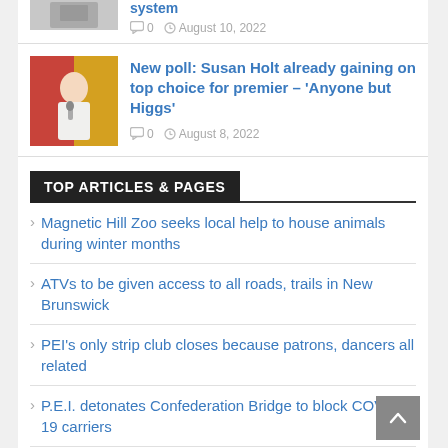[Figure (photo): Partial view of top article thumbnail showing a person and equipment]
system
0   August 10, 2022
[Figure (photo): Photo of Susan Holt, a woman in a white jacket holding a microphone in front of a red/yellow background]
New poll: Susan Holt already gaining on top choice for premier – 'Anyone but Higgs'
0   August 8, 2022
TOP ARTICLES & PAGES
Magnetic Hill Zoo seeks local help to house animals during winter months
ATVs to be given access to all roads, trails in New Brunswick
PEI's only strip club closes because patrons, dancers all related
P.E.I. detonates Confederation Bridge to block COVID-19 carriers
'The Littlest Hobo' getting gritty new remake